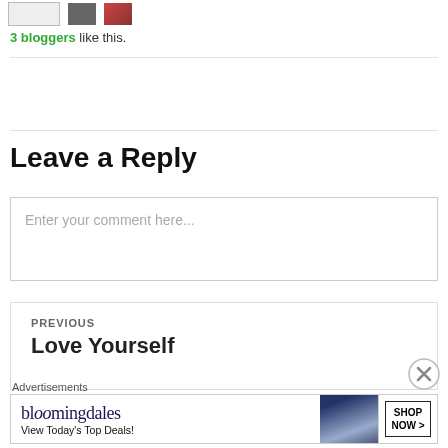3 bloggers like this.
Leave a Reply
Enter your comment here...
PREVIOUS
Love Yourself
Advertisements
[Figure (other): Bloomingdales advertisement banner: 'bloomingdales - View Today's Top Deals!' with SHOP NOW button and woman in hat photo]